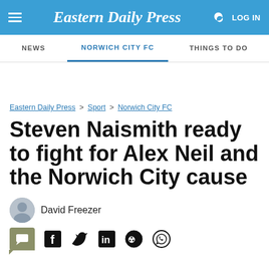Eastern Daily Press
NEWS | NORWICH CITY FC | THINGS TO DO
Eastern Daily Press > Sport > Norwich City FC
Steven Naismith ready to fight for Alex Neil and the Norwich City cause
David Freezer